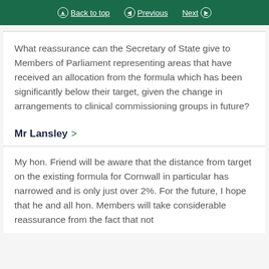Back to top  Previous  Next
What reassurance can the Secretary of State give to Members of Parliament representing areas that have received an allocation from the formula which has been significantly below their target, given the change in arrangements to clinical commissioning groups in future?
Mr Lansley >
My hon. Friend will be aware that the distance from target on the existing formula for Cornwall in particular has narrowed and is only just over 2%. For the future, I hope that he and all hon. Members will take considerable reassurance from the fact that not